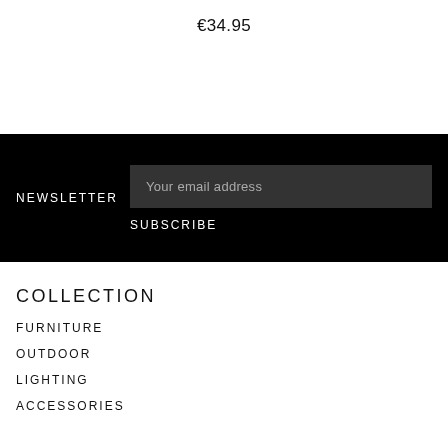€34.95
NEWSLETTER
Your email address
SUBSCRIBE
COLLECTION
FURNITURE
OUTDOOR
LIGHTING
ACCESSORIES